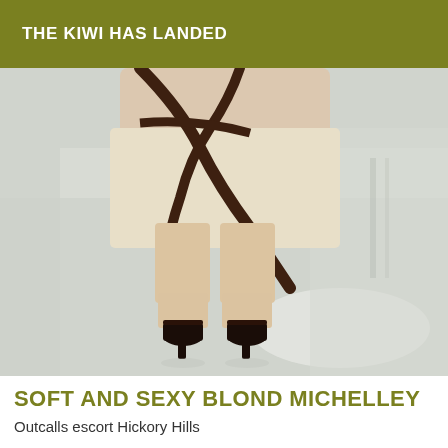THE KIWI HAS LANDED
[Figure (photo): Close-up overhead photo of a person wearing high-heeled shoes with dark straps, photographed from above showing the feet and lower legs against a light grey/white floor surface.]
SOFT AND SEXY BLOND MICHELLEY
Outcalls escort Hickory Hills